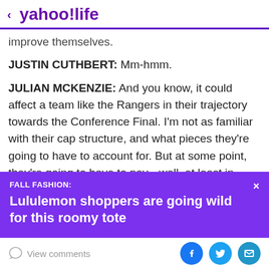< yahoo!life
improve themselves.
JUSTIN CUTHBERT: Mm-hmm.
JULIAN MCKENZIE: And you know, it could affect a team like the Rangers in their trajectory towards the Conference Final. I'm not as familiar with their cap structure, and what pieces they're going to have to account for. But at some point, they're going to have to pay-- well, at least in their-- at least for the Rangers.
[Figure (screenshot): Purple promotional banner overlay: FALL FASHION: Lululemon shoppers are going wild for this roomy tote, with X close button]
View comments | Facebook | Twitter | Email